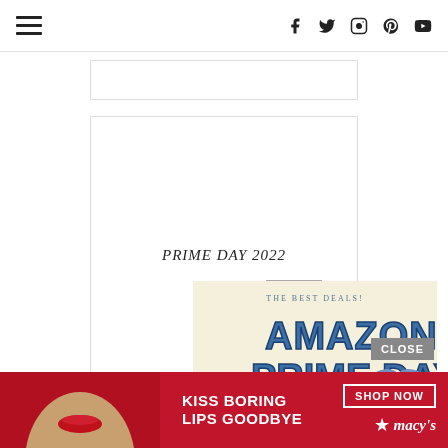Navigation header with hamburger menu and social icons (Facebook, Twitter, Instagram, Pinterest, YouTube)
[Figure (other): White ad placeholder box with border]
PRIME DAY 2022
[Figure (infographic): Amazon Prime Day 2022 promotional graphic. Text reads: THE BEST DEALS! AMAZON PRIME DAY 2022, with a gift box with blue ribbon on a cream background. Watermark: Just A Simple Home]
[Figure (other): CLOSE button (gray)]
[Figure (other): Bottom advertisement banner for Macy's. Text: KISS BORING LIPS GOODBYE | SHOP NOW | macy's star logo]